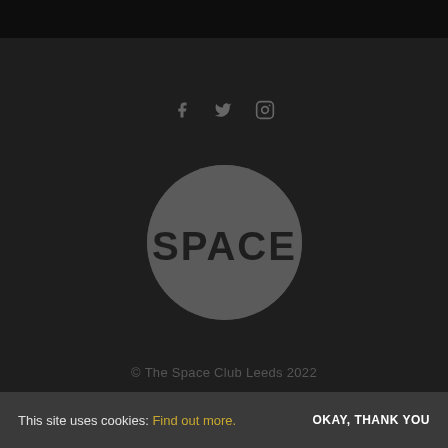[Figure (logo): Social media icons: Facebook, Twitter, Instagram in dark gray]
[Figure (logo): SPACE club circular logo in gray tones with dark background]
© The Space Club Leeds 2022
Home
Privacy Policy
Cookie Policy
This site uses cookies: Find out more.  OKAY, THANK YOU